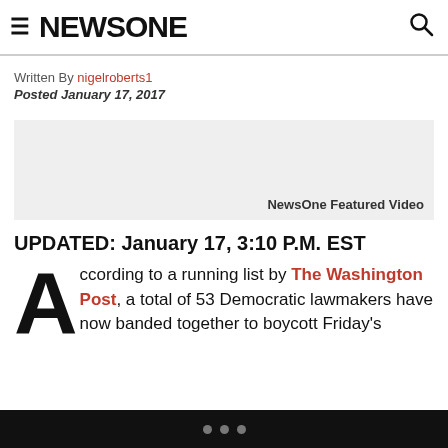≡ NEWSONE [search icon]
Written By nigelroberts1
Posted January 17, 2017
[Figure (other): NewsOne Featured Video placeholder box with text 'NewsOne Featured Video' in bottom right]
UPDATED: January 17, 3:10 P.M. EST
According to a running list by The Washington Post, a total of 53 Democratic lawmakers have now banded together to boycott Friday's